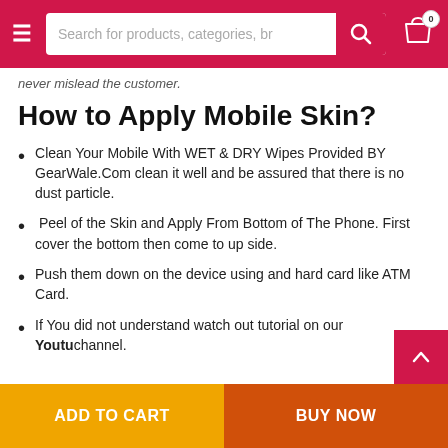Search for products, categories, br
never mislead the customer.
How to Apply Mobile Skin?
Clean Your Mobile With WET & DRY Wipes Provided BY GearWale.Com clean it well and be assured that there is no dust particle.
Peel of the Skin and Apply From Bottom of The Phone. First cover the bottom then come to up side.
Push them down on the device using and hard card like ATM Card.
If You did not understand watch out tutorial on our Youtube channel.
ADD TO CART | BUY NOW